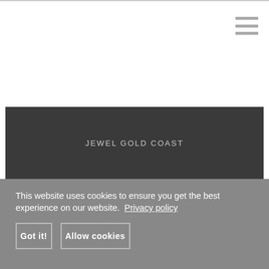[Figure (other): Hamburger menu icon (three horizontal lines) in the top right corner]
JEWEL GOLD COAST
This website uses cookies to ensure you get the best experience on our website. Privacy policy
Got it!
Allow cookies